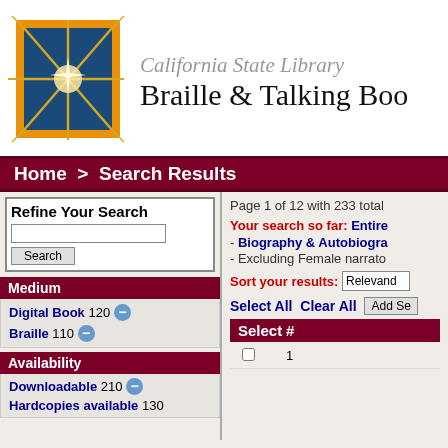[Figure (logo): California State Library star/compass logo in blue and gold with orange border]
California State Library Braille & Talking Boo
Home  >  Search Results
Refine Your Search
Medium
Digital Book 120 -
Braille 110 -
Availability
Downloadable 210 -
Hardcopies available 130
Page 1 of 12 with 233 total
Your search so far: Entire - Biography & Autobiogra - Excluding Female narrato
Sort your results: Relevand
Select All  Clear All  Add Se
| Select | # |
| --- | --- |
|  | 1 |